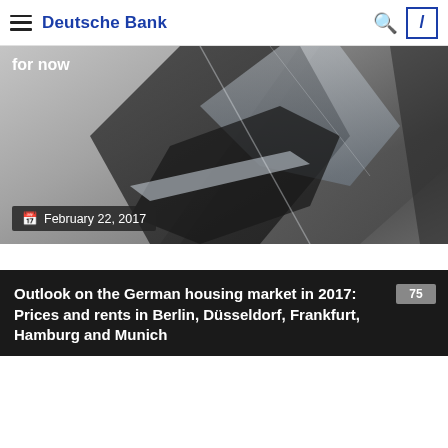Deutsche Bank
[Figure (photo): Abstract close-up photograph of Deutsche Bank architectural/metallic angular surfaces in grey tones, with text overlay 'for now' at top left and date badge 'February 22, 2017' at bottom left.]
February 22, 2017
Outlook on the German housing market in 2017: Prices and rents in Berlin, Düsseldorf, Frankfurt, Hamburg and Munich